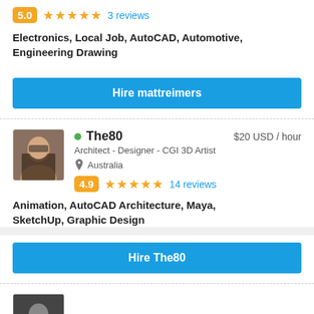5.0  ★★★★★  3 reviews
Electronics, Local Job, AutoCAD, Automotive, Engineering Drawing
Hire mattreimers
The80   $20 USD / hour
Architect - Designer - CGI 3D Artist
Australia
4.9  ★★★★★  14 reviews
Animation, AutoCAD Architecture, Maya, SketchUp, Graphic Design
Hire The80
yukhoda   $18 USD / hour